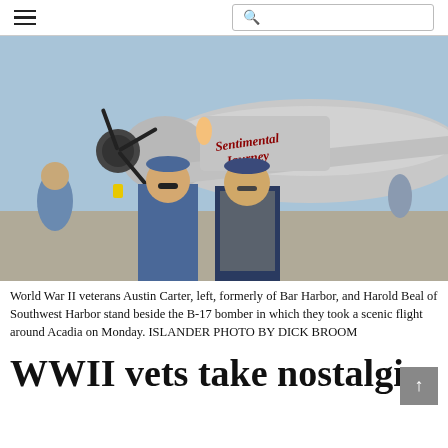≡  🔍
[Figure (photo): Two elderly World War II veterans standing in front of a B-17 bomber named 'Sentimental Journey' on an airfield tarmac. The man on the left wears a blue shirt and cap with sunglasses. The man on the right wears a plaid shirt with a dark vest and cap. The silver B-17 aircraft with nose art of a woman and script lettering is visible behind them.]
World War II veterans Austin Carter, left, formerly of Bar Harbor, and Harold Beal of Southwest Harbor stand beside the B-17 bomber in which they took a scenic flight around Acadia on Monday. ISLANDER PHOTO BY DICK BROOM
WWII vets take nostalgic